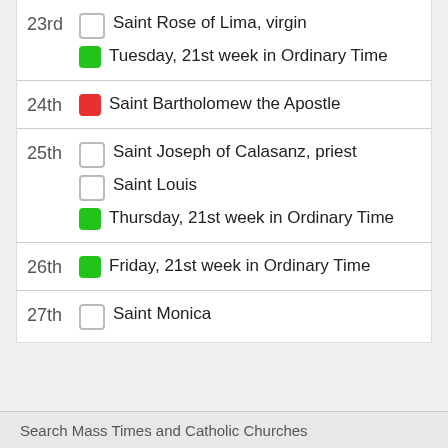23rd — Saint Rose of Lima, virgin; Tuesday, 21st week in Ordinary Time
24th — Saint Bartholomew the Apostle
25th — Saint Joseph of Calasanz, priest; Saint Louis; Thursday, 21st week in Ordinary Time
26th — Friday, 21st week in Ordinary Time
27th — Saint Monica
Search Mass Times and Catholic Churches